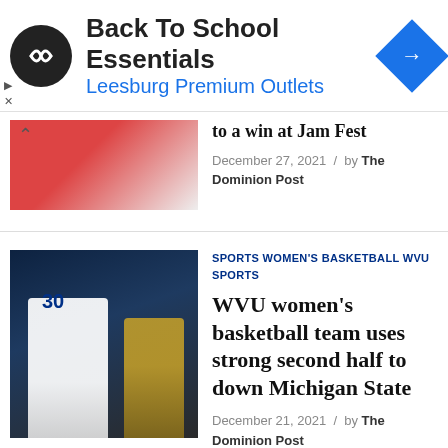[Figure (other): Advertisement banner for Back To School Essentials at Leesburg Premium Outlets with logo and arrow icon]
Back To School Essentials
Leesburg Premium Outlets
to a win at Jam Fest
December 27, 2021 / by The Dominion Post
SPORTS WOMEN'S BASKETBALL WVU SPORTS
WVU women's basketball team uses strong second half to down Michigan State
December 21, 2021 / by The Dominion Post